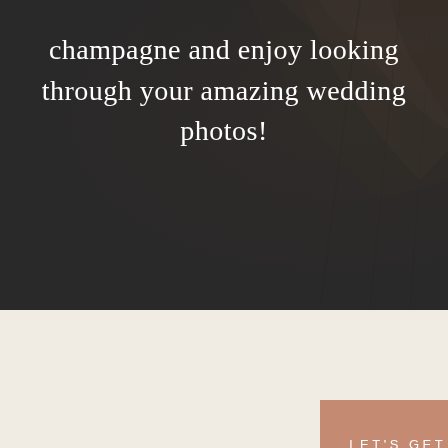[Figure (photo): Dark monochrome background photo of wedding scene with dramatic lighting, overlaid with semi-transparent dark filter]
champagne and enjoy looking through your amazing wedding photos!
LET'S GET STARTED →